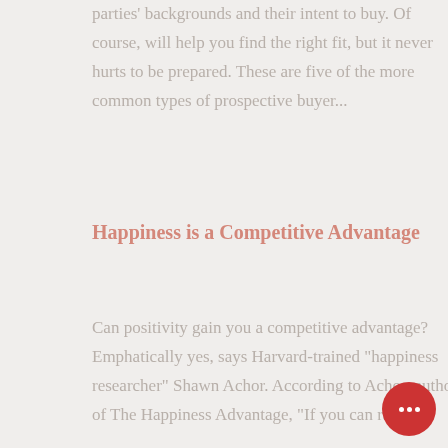parties' backgrounds and their intent to buy. Of course, will help you find the right fit, but it never hurts to be prepared. These are five of the more common types of prospective buyer...
Happiness is a Competitive Advantage
Can positivity gain you a competitive advantage? Emphatically yes, says Harvard-trained "happiness researcher" Shawn Achor. According to Achor, author of The Happiness Advantage, "If you can raise